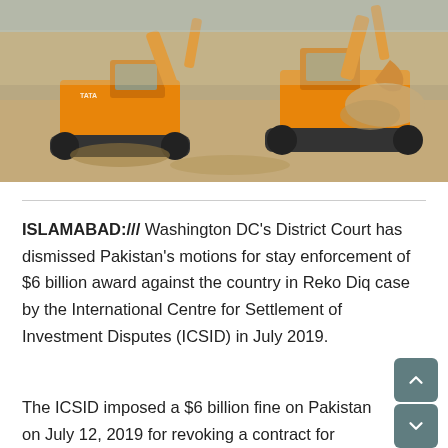[Figure (photo): Two large orange excavators digging in a dry rocky terrain, one scooping up earth and debris in an open-pit mining or construction site.]
ISLAMABAD:/// Washington DC's District Court has dismissed Pakistan's motions for stay enforcement of $6 billion award against the country in Reko Diq case by the International Centre for Settlement of Investment Disputes (ICSID) in July 2019.
The ICSID imposed a $6 billion fine on Pakistan on July 12, 2019 for revoking a contract for mining at Reko Diq in Balochistan. A British Virgin Islands (BVI) court also ruled on